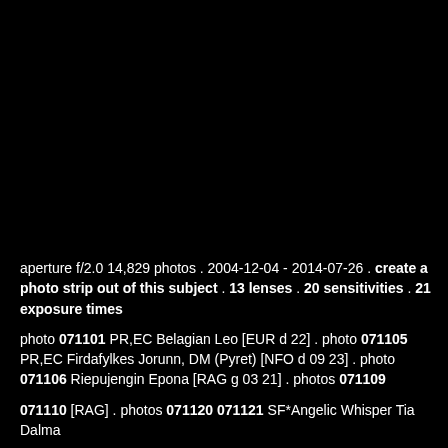aperture f/2.0 14,829 photos . 2004-12-04 - 2014-07-26 . create a photo strip out of this subject . 13 lenses . 20 sensitivities . 21 exposure times
photo 071101 PR,EC Belagian Leo [EUR d 22] . photo 071105 PR,EC Firdafylkes Jorunn, DM (Pyret) [NFO d 09 23] . photo 071106 Riepujengin Epona [RAG g 03 21] . photos 071109 071110 [RAG] . photos 071120 071121 SF*Angelic Whisper Tia Dalma